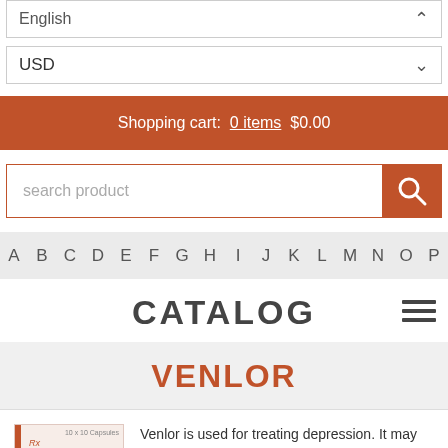English
USD
Shopping cart:  0 items  $0.00
search product
A B C D E F G H I J K L M N O P
CATALOG
VENLOR
Venlor is used for treating depression. It may also be used for other conditions as determined by your doctor.